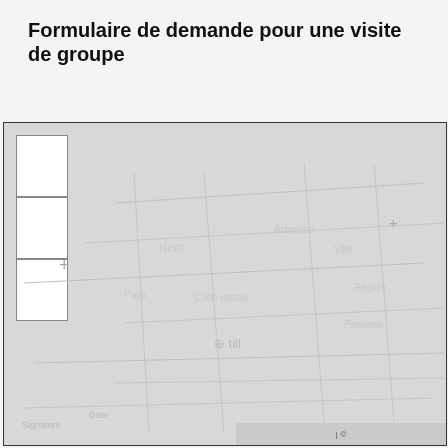Formulaire de demande pour une visite de groupe
[Figure (map): A greyed-out map with a small column of three white checkbox/input boxes on the upper left, watermark text, and a copyright footer bar at the bottom right.]